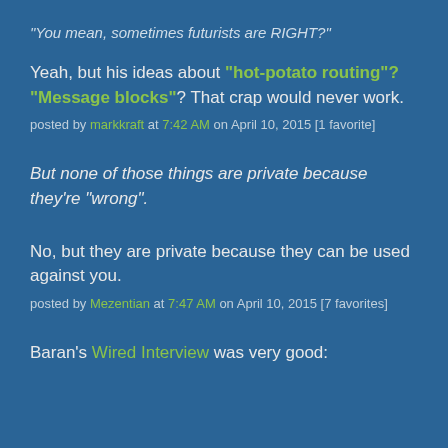"You mean, sometimes futurists are RIGHT?"
Yeah, but his ideas about "hot-potato routing"? "Message blocks"? That crap would never work.
posted by markkraft at 7:42 AM on April 10, 2015 [1 favorite]
But none of those things are private because they're "wrong".
No, but they are private because they can be used against you.
posted by Mezentian at 7:47 AM on April 10, 2015 [7 favorites]
Baran's Wired Interview was very good: